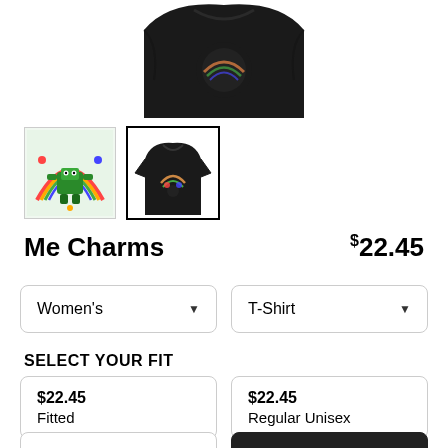[Figure (photo): Close-up of a black t-shirt with a colorful graphic design, partially visible at top of page]
[Figure (photo): Thumbnail 1: Colorful cartoon robot character on white background]
[Figure (photo): Thumbnail 2 (selected): Black t-shirt with colorful graphic design, selected/active state with black border]
Me Charms
$22.45
Women's (dropdown)
T-Shirt (dropdown)
SELECT YOUR FIT
$22.45
Fitted
$22.45
Regular Unisex